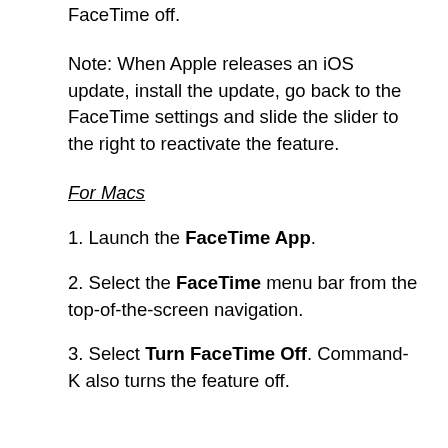FaceTime off.
Note: When Apple releases an iOS update, install the update, go back to the FaceTime settings and slide the slider to the right to reactivate the feature.
For Macs
1. Launch the FaceTime App.
2. Select the FaceTime menu bar from the top-of-the-screen navigation.
3. Select Turn FaceTime Off. Command-K also turns the feature off.